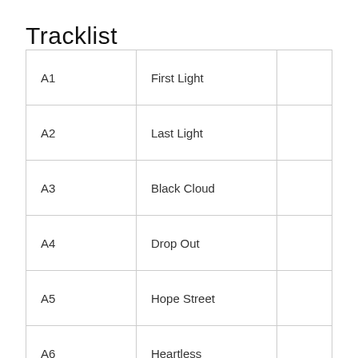Tracklist
|  |  |  |
| --- | --- | --- |
| A1 | First Light |  |
| A2 | Last Light |  |
| A3 | Black Cloud |  |
| A4 | Drop Out |  |
| A5 | Hope Street |  |
| A6 | Heartless |  |
| A7 | You Fail Me |  |